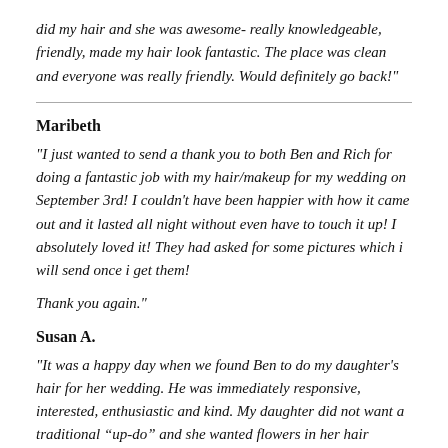did my hair and she was awesome- really knowledgeable, friendly, made my hair look fantastic. The place was clean and everyone was really friendly. Would definitely go back!"
Maribeth
"I just wanted to send a thank you to both Ben and Rich for doing a fantastic job with my hair/makeup for my wedding on September 3rd! I couldn't have been happier with how it came out and it lasted all night without even have to touch it up! I absolutely loved it! They had asked for some pictures which i will send once i get them!
Thank you again."
Susan A.
"It was a happy day when we found Ben to do my daughter's hair for her wedding. He was immediately responsive, interested, enthusiastic and kind. My daughter did not want a traditional “up-do” and she wanted flowers in her hair instead of a veil. Ben recommended small silk flowers and he has a good eye for which placement is best. He